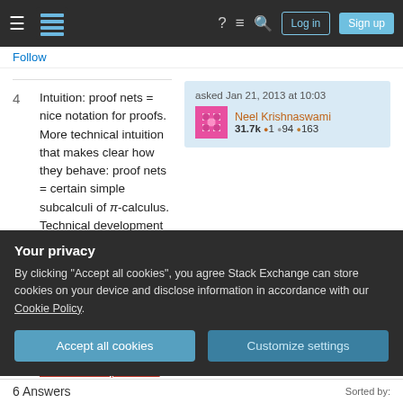Stack Exchange navigation bar with hamburger menu, logo, help, chat, search, Log in, Sign up buttons
Follow
asked Jan 21, 2013 at 10:03 Neel Krishnaswami 31.7k ●1 ●94 ●163
4  Intuition: proof nets = nice notation for proofs. More technical intuition that makes clear how they behave: proof nets = certain simple subcalculi of π-calculus. Technical development that is worth understanding to nail down one's understanding of proof nets: An exact correspondence between a typed pi-calculus and polarised proof-nets by Honda and Laurent.
Your privacy
By clicking "Accept all cookies", you agree Stack Exchange can store cookies on your device and disclose information in accordance with our Cookie Policy.
Accept all cookies
Customize settings
6 Answers